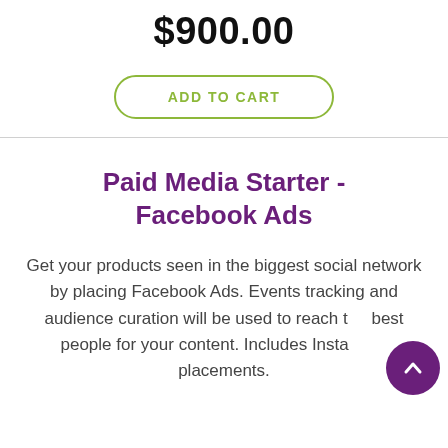$900.00
ADD TO CART
Paid Media Starter - Facebook Ads
Get your products seen in the biggest social network by placing Facebook Ads. Events tracking and audience curation will be used to reach the best people for your content. Includes Instagram placements.